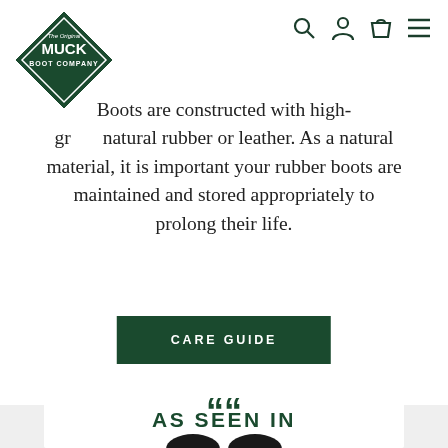[Figure (logo): The Original Muck Boot Company diamond-shaped logo in dark green and white]
[Figure (other): Navigation icons: search magnifying glass, user/account person, shopping bag/cart, hamburger menu lines — all in dark green]
Boots are constructed with high-grade natural rubber or leather. As a natural material, it is important your rubber boots are maintained and stored appropriately to prolong their life.
CARE GUIDE
AS SEEN IN
[Figure (other): Large opening double quotation marks in dark green bold, above partially visible circular silhouettes of people at bottom of page]